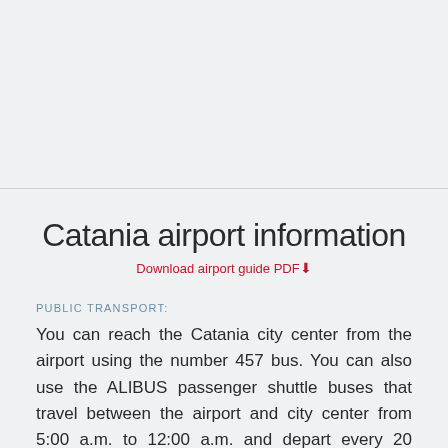Catania airport information
Download airport guide PDF⬇
PUBLIC TRANSPORT:
You can reach the Catania city center from the airport using the number 457 bus. You can also use the ALIBUS passenger shuttle buses that travel between the airport and city center from 5:00 a.m. to 12:00 a.m. and depart every 20 minutes. It is 6 km from the airport and the city center and should take approximately 20